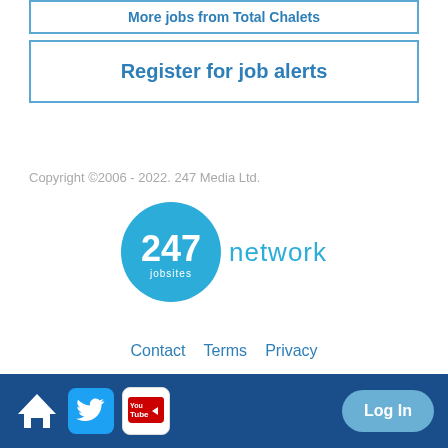More jobs from Total Chalets
Register for job alerts
Copyright ©2006 - 2022. 247 Media Ltd.
[Figure (logo): 247 jobsites network logo — blue circle with '247' and 'jobsites' text, followed by 'network' in light blue]
Contact  Terms  Privacy
Home | Twitter | YouTube | Log In